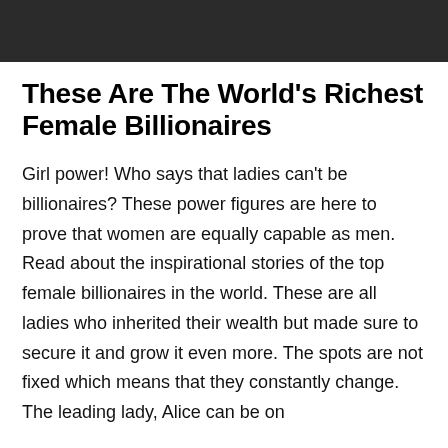These Are The World’s Richest Female Billionaires
Girl power! Who says that ladies can’t be billionaires? These power figures are here to prove that women are equally capable as men. Read about the inspirational stories of the top female billionaires in the world. These are all ladies who inherited their wealth but made sure to secure it and grow it even more. The spots are not fixed which means that they constantly change. The leading lady, Alice can be on